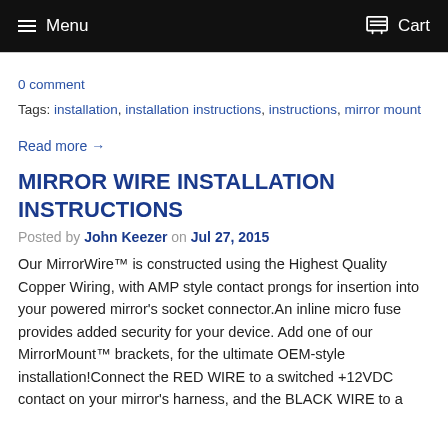Menu  Cart
0 comment
Tags: installation, installation instructions, instructions, mirror mount
Read more →
MIRROR WIRE INSTALLATION INSTRUCTIONS
Posted by John Keezer on Jul 27, 2015
Our MirrorWire™ is constructed using the Highest Quality Copper Wiring, with AMP style contact prongs for insertion into your powered mirror's socket connector.An inline micro fuse provides added security for your device. Add one of our MirrorMount™ brackets, for the ultimate OEM-style installation!Connect the RED WIRE to a switched +12VDC contact on your mirror's harness, and the BLACK WIRE to a